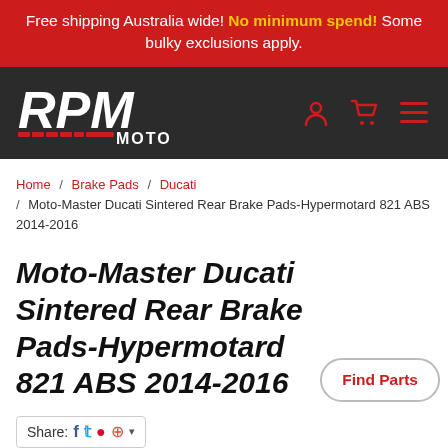Free shipping Australia wide! No minimum spend! Some bulky exclusions apply.
[Figure (logo): RPM Moto logo on dark background with user, cart and menu icons]
Home / Brake Pads / Ducati / Moto-Master Ducati Sintered Rear Brake Pads-Hypermotard 821 ABS 2014-2016
Moto-Master Ducati Sintered Rear Brake Pads-Hypermotard 821 ABS 2014-2016
Share:
$68.95